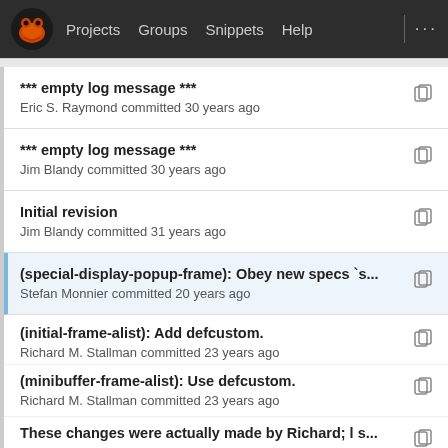Projects  Groups  Snippets  Help  ...
*** empty log message ***
Eric S. Raymond committed 30 years ago
*** empty log message ***
Jim Blandy committed 30 years ago
Initial revision
Jim Blandy committed 31 years ago
(special-display-popup-frame): Obey new specs `s...
Stefan Monnier committed 20 years ago
(initial-frame-alist): Add defcustom.
Richard M. Stallman committed 23 years ago
(minibuffer-frame-alist): Use defcustom.
Richard M. Stallman committed 23 years ago
These changes were actually made by Richard; l s...